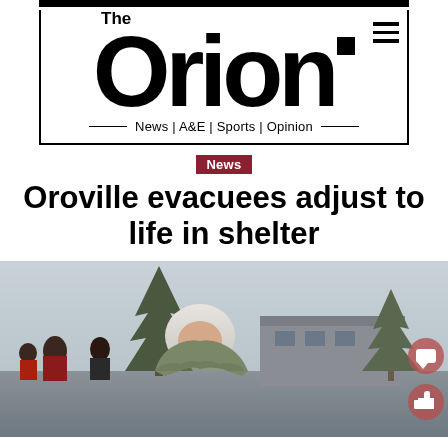The Orion — News | A&E | Sports | Opinion
News
Oroville evacuees adjust to life in shelter
[Figure (photo): A white-haired elderly person wrapped in a camouflage blanket stands outdoors near trees and a building, with other people visible in the background. Two social media icons (comment and like) overlay the lower right of the photo.]